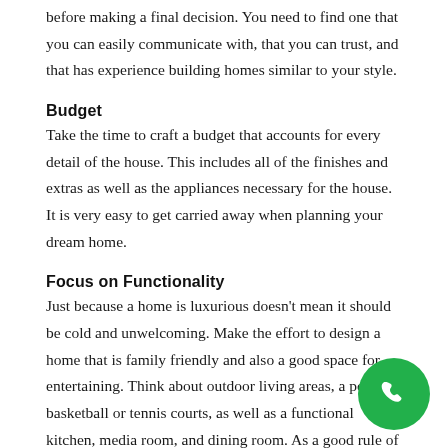before making a final decision. You need to find one that you can easily communicate with, that you can trust, and that has experience building homes similar to your style.
Budget
Take the time to craft a budget that accounts for every detail of the house. This includes all of the finishes and extras as well as the appliances necessary for the house. It is very easy to get carried away when planning your dream home.
Focus on Functionality
Just because a home is luxurious doesn't mean it should be cold and unwelcoming. Make the effort to design a home that is family friendly and also a good space for entertaining. Think about outdoor living areas, a pool, basketball or tennis courts, as well as a functional kitchen, media room, and dining room. As a good rule of thumb, you should design the home based on how you plan to use the home.
[Figure (other): Green circular phone/call button in bottom right corner]